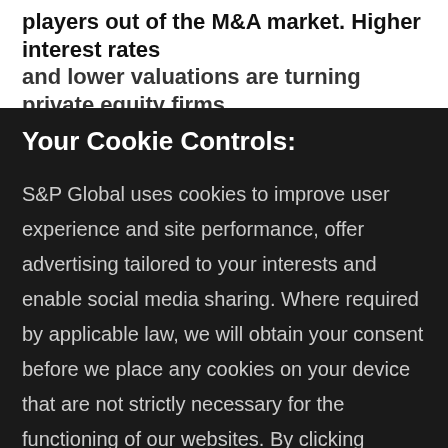players out of the M&A market. Higher interest rates and lower valuations are turning private equity firms
Your Cookie Controls:
S&P Global uses cookies to improve user experience and site performance, offer advertising tailored to your interests and enable social media sharing. Where required by applicable law, we will obtain your consent before we place any cookies on your device that are not strictly necessary for the functioning of our websites. By clicking "Accept All Cookies", you agree to our use of cookies. Learn about our cookies and how to modify your preferences in our Cookie Notice